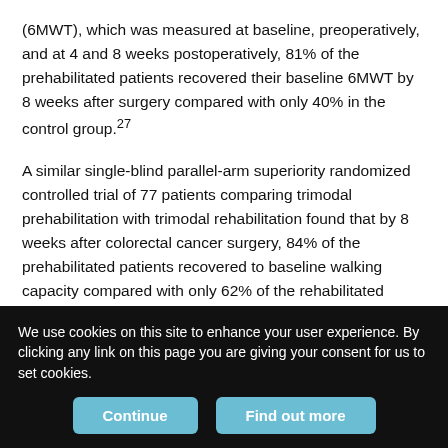(6MWT), which was measured at baseline, preoperatively, and at 4 and 8 weeks postoperatively, 81% of the prehabilitated patients recovered their baseline 6MWT by 8 weeks after surgery compared with only 40% in the control group.27
A similar single-blind parallel-arm superiority randomized controlled trial of 77 patients comparing trimodal prehabilitation with trimodal rehabilitation found that by 8 weeks after colorectal cancer surgery, 84% of the prehabilitated patients recovered to baseline walking capacity compared with only 62% of the rehabilitated patients.28 In fact, at 8 weeks after surgery, on average, the prehabilitated patients were above baseline walking capacity, whereas the rehabilitated patients were below baseline walking capacity.28 Intervention at the
We use cookies on this site to enhance your user experience. By clicking any link on this page you are giving your consent for us to set cookies.